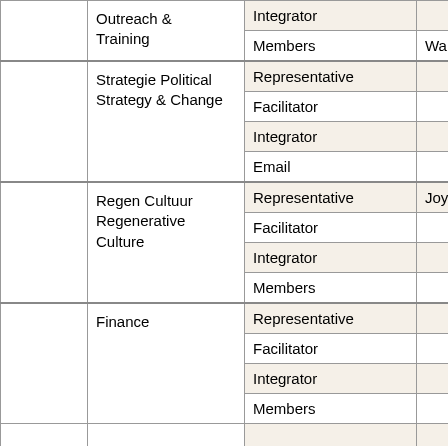| (col1) | Group | Role | Person |
| --- | --- | --- | --- |
|  | Outreach & Training | Integrator |  |
|  |  | Members | Walter |
|  | Strategie Political Strategy & Change | Representative |  |
|  |  | Facilitator |  |
|  |  | Integrator |  |
|  |  | Email |  |
|  | Regen Cultuur Regenerative Culture | Representative | Joyce |
|  |  | Facilitator |  |
|  |  | Integrator |  |
|  |  | Members |  |
|  | Finance | Representative |  |
|  |  | Facilitator |  |
|  |  | Integrator |  |
|  |  | Members |  |